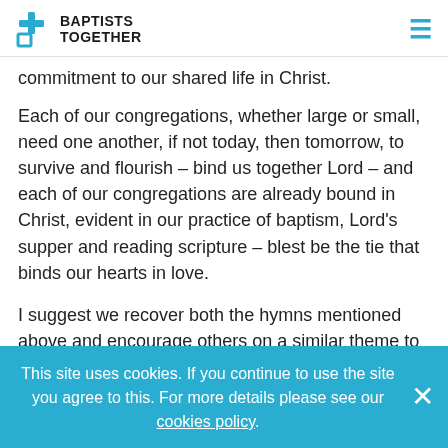BAPTISTS TOGETHER
commitment to our shared life in Christ.
Each of our congregations, whether large or small, need one another, if not today, then tomorrow, to survive and flourish – bind us together Lord – and each of our congregations are already bound in Christ, evident in our practice of baptism, Lord's supper and reading scripture – blest be the tie that binds our hearts in love.
I suggest we recover both the hymns mentioned above and encourage others on a similar theme to be written. One I have discovered recently is from those modern day Wesleys, Keith & Kristyn Getty and Stuart
This site uses cookies. If you continue to use the site you agree to this. For more details please see our cookies policy.